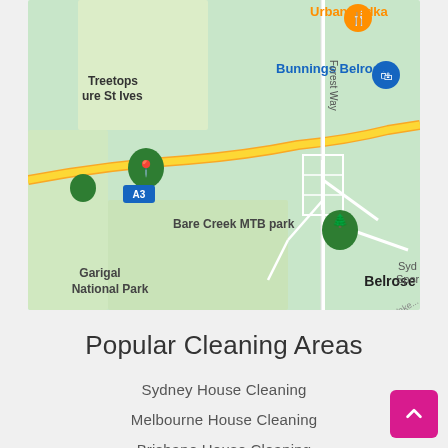[Figure (map): Google Maps screenshot showing Belrose area in Sydney, Australia. Features include Treetops, St Ives, Bunnings Belrose, Bare Creek MTB park, Garigal National Park, Belrose suburb, Forest Way road, A3 highway, Urban Tadka restaurant, and Sydney Sports Ground partially visible.]
Popular Cleaning Areas
Sydney House Cleaning
Melbourne House Cleaning
Brisbane House Cleaning
Perth House Cleaning